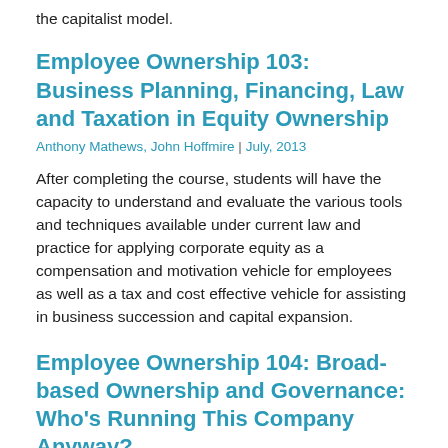the capitalist model.
Employee Ownership 103: Business Planning, Financing, Law and Taxation in Equity Ownership
Anthony Mathews, John Hoffmire | July, 2013
After completing the course, students will have the capacity to understand and evaluate the various tools and techniques available under current law and practice for applying corporate equity as a compensation and motivation vehicle for employees as well as a tax and cost effective vehicle for assisting in business succession and capital expansion.
Employee Ownership 104: Broad-based Ownership and Governance: Who’s Running This Company Anyway?